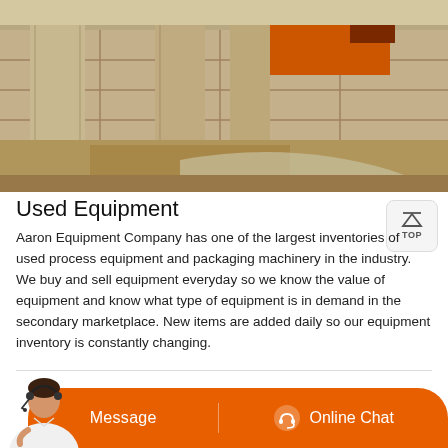[Figure (photo): Construction site photo showing concrete pillars, stone walls, and an orange-painted structure in the background, with debris on the ground.]
Used Equipment
Aaron Equipment Company has one of the largest inventories of used process equipment and packaging machinery in the industry. We buy and sell equipment everyday so we know the value of equipment and know what type of equipment is in demand in the secondary marketplace. New items are added daily so our equipment inventory is constantly changing.
[Figure (infographic): Orange chat bar at the bottom with a customer service agent photo on the left, a 'Message' button on the left side and an 'Online Chat' button with headset icon on the right side.]